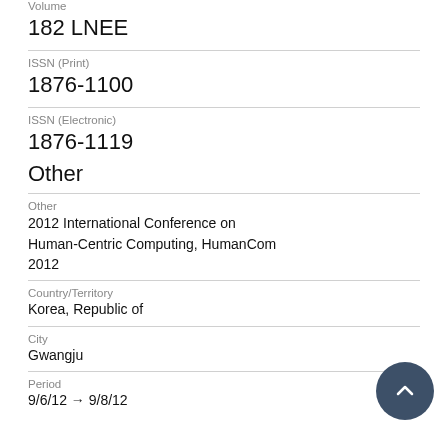Volume
182 LNEE
ISSN (Print)
1876-1100
ISSN (Electronic)
1876-1119
Other
Other
2012 International Conference on Human-Centric Computing, HumanCom 2012
Country/Territory
Korea, Republic of
City
Gwangju
Period
9/6/12 → 9/8/12